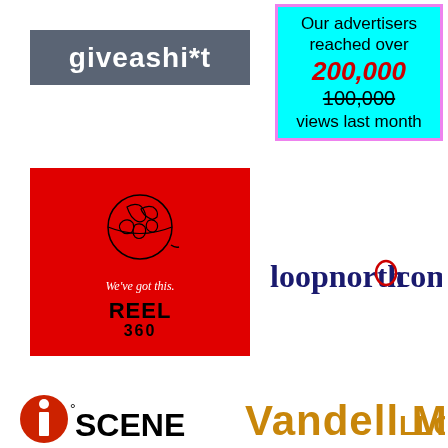[Figure (logo): giveashi*t logo – white text on gray/slate background]
[Figure (infographic): Cyan box with violet border: 'Our advertisers reached over 200,000 (strikethrough 100,000) views last month']
[Figure (logo): REEL 360 logo – red background with globe outline, tagline 'We've got this.']
[Figure (logo): loopnorth.com logo – dark blue serif text with red loop 'o']
[Figure (logo): iSCENE logo – partially visible at bottom left]
[Figure (logo): Vandell Menkes LLC logo – stylized golden/orange text, partially visible at bottom right]